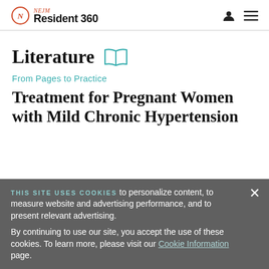NEJM Resident 360
Literature
From Pages to Practice
Treatment for Pregnant Women with Mild Chronic Hypertension
THIS SITE USES COOKIES to personalize content, to measure website and advertising performance, and to present relevant advertising. By continuing to use our site, you accept the use of these cookies. To learn more, please visit our Cookie Information page.